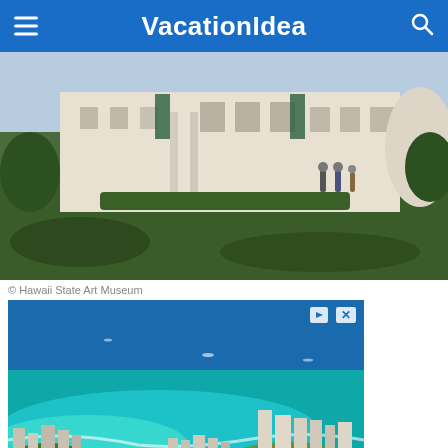VacationIdea
[Figure (photo): Exterior of Hawaii State Art Museum building with people walking on lawn]
© Hawaii State Art Museum
[Figure (photo): Advertisement banner showing aerial view of Hawaiian coastline with turquoise water and buildings. Text: Book now and pay later. GetYourGuide.]